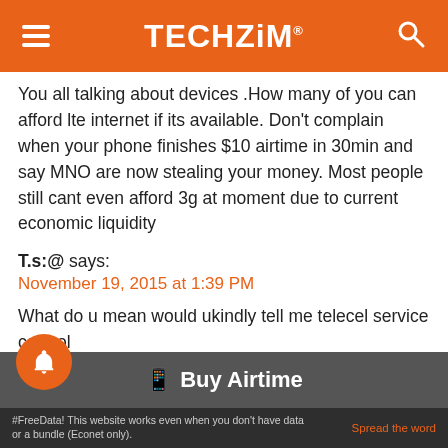TECHZiM
You all talking about devices .How many of you can afford lte internet if its available. Don't complain when your phone finishes $10 airtime in 30min and say MNO are now stealing your money. Most people still cant even afford 3g at moment due to current economic liquidity
T.s:@ says:
November 19, 2015 at 1:39 PM
What do u mean would ukindly tell me telecel service control
Comments are closed.
Buy Airtime | #FreeData! This website works even when you don't have data or a bundle (Econet only). | Spread the word